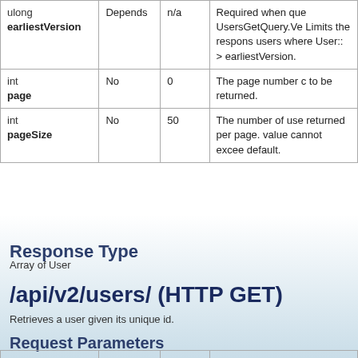|  | Required | Default | Description |
| --- | --- | --- | --- |
| ulong earliestVersion | Depends | n/a | Required when que UsersGetQuery.Ve Limits the respons users where User:: > earliestVersion. |
| int page | No | 0 | The page number c to be returned. |
| int pageSize | No | 50 | The number of use returned per page. value cannot excee default. |
Response Type
Array of User
/api/v2/users/ (HTTP GET)
Retrieves a user given its unique id.
Request Parameters